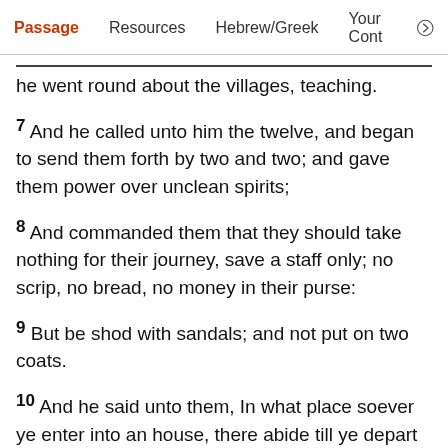Passage  Resources  Hebrew/Greek  Your Cont
he went round about the villages, teaching.
7 And he called unto him the twelve, and began to send them forth by two and two; and gave them power over unclean spirits;
8 And commanded them that they should take nothing for their journey, save a staff only; no scrip, no bread, no money in their purse:
9 But be shod with sandals; and not put on two coats.
10 And he said unto them, In what place soever ye enter into an house, there abide till ye depart from that place.
11 And whosoever shall not receive you, nor hear